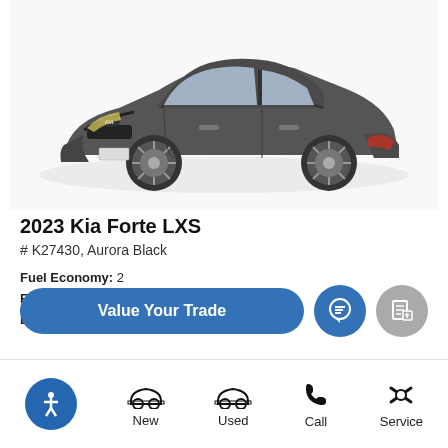[Figure (photo): 2023 Kia Forte LXS sedan in Aurora Black color, shown from front-right three-quarter view on white background]
2023 Kia Forte LXS
# K27430, Aurora Black
Fuel Economy: 28 | Engine: Regular U... | Drivetrain: FWD
Value Your Trade
New | Used | Call | Service